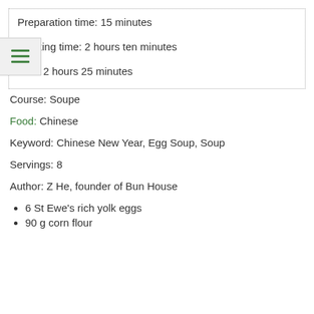Preparation time: 15 minutes
Cooking time: 2 hours ten minutes
time: 2 hours 25 minutes
Course: Soupe
Food: Chinese
Keyword: Chinese New Year, Egg Soup, Soup
Servings: 8
Author: Z He, founder of Bun House
6 St Ewe's rich yolk eggs
90 g corn flour